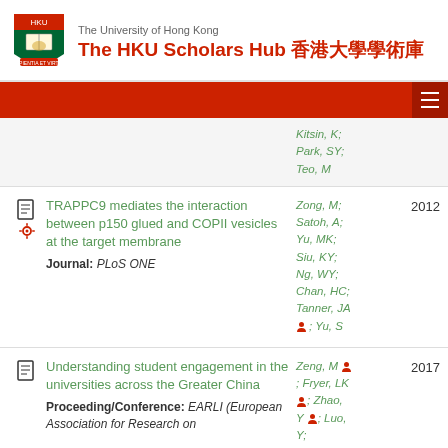The University of Hong Kong — The HKU Scholars Hub 香港大學學術庫
Kitsin, K; Park, SY; Teo, M — (partial/cut-off row)
TRAPPC9 mediates the interaction between p150 glued and COPII vesicles at the target membrane — Journal: PLoS ONE — Authors: Zong, M; Satoh, A; Yu, MK; Siu, KY; Ng, WY; Chan, HC; Tanner, JA; Yu, S — Year: 2012
Understanding student engagement in the universities across the Greater China — Proceeding/Conference: EARLI (European Association for Research on — Authors: Zeng, M; Fryer, LK; Zhao, Y; Luo, Y; — Year: 2017